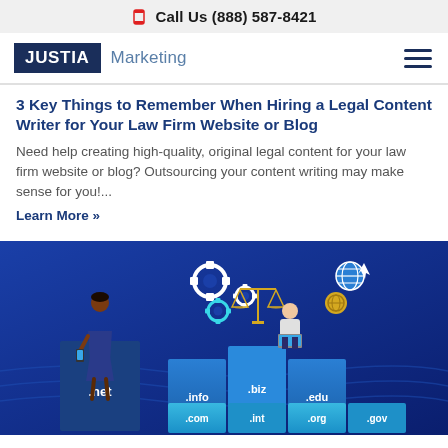Call Us (888) 587-8421
[Figure (logo): Justia Marketing logo with hamburger menu icon]
3 Key Things to Remember When Hiring a Legal Content Writer for Your Law Firm Website or Blog
Need help creating high-quality, original legal content for your law firm website or blog? Outsourcing your content writing may make sense for you!...
Learn More »
[Figure (illustration): Illustration on blue background showing domain name extensions (.net, .info, .biz, .edu, .com, .int, .org, .gov) as stacked blocks with cartoon figures, scales of justice, and gear icons]